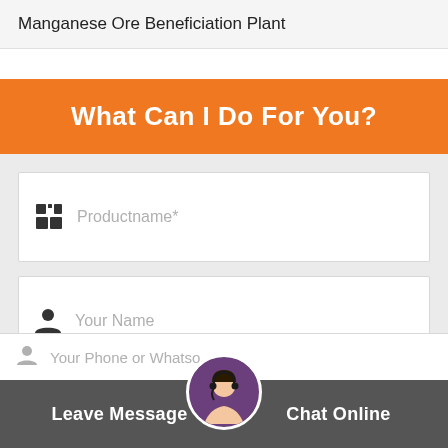Manganese Ore Beneficiation Plant
What Can I Do For You?
Productname*
Your Name
Email*
Leave Message
Chat Online
Your Phone or Whats...